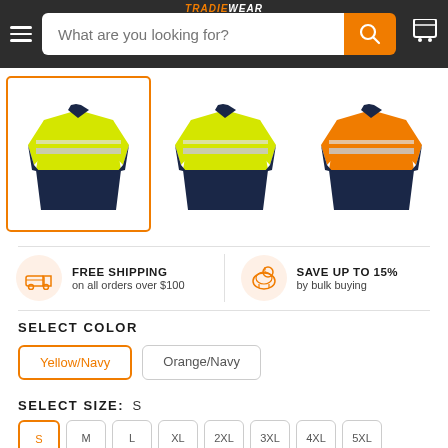TRADIE WEAR — What are you looking for?
[Figure (photo): Three hi-visibility work jackets: yellow/navy (selected, orange border), yellow/navy, and orange/navy, shown as product thumbnails in a horizontal row.]
FREE SHIPPING on all orders over $100
SAVE UP TO 15% by bulk buying
SELECT COLOR
Yellow/Navy
Orange/Navy
SELECT SIZE: S
S  M  L  XL  2XL  3XL  4XL  5XL